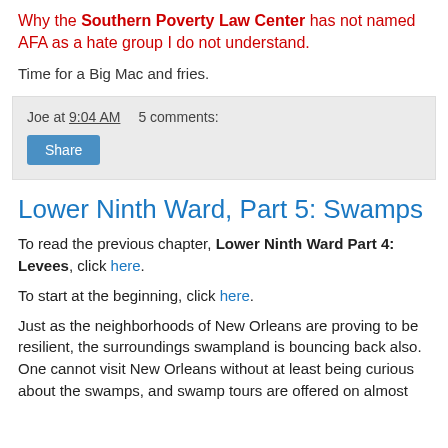Why the Southern Poverty Law Center has not named AFA as a hate group I do not understand.
Time for a Big Mac and fries.
Joe at 9:04 AM   5 comments:
Share
Lower Ninth Ward, Part 5: Swamps
To read the previous chapter, Lower Ninth Ward Part 4: Levees, click here.
To start at the beginning, click here.
Just as the neighborhoods of New Orleans are proving to be resilient, the surroundings swampland is bouncing back also. One cannot visit New Orleans without at least being curious about the swamps, and swamp tours are offered on almost